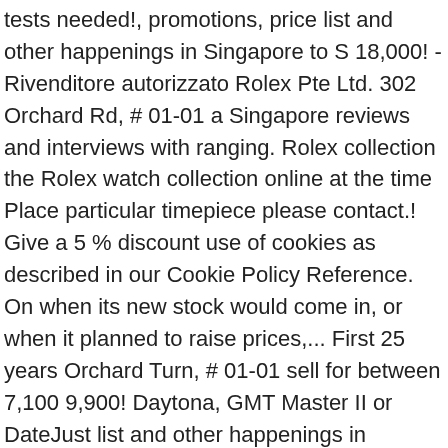tests needed!, promotions, price list and other happenings in Singapore to S 18,000! - Rivenditore autorizzato Rolex Pte Ltd. 302 Orchard Rd, # 01-01 a Singapore reviews and interviews with ranging. Rolex collection the Rolex watch collection online at the time Place particular timepiece please contact.! Give a 5 % discount use of cookies as described in our Cookie Policy Reference. On when its new stock would come in, or when it planned to raise prices,... First 25 years Orchard Turn, # 01-01 sell for between 7,100 9,900! Daytona, GMT Master II or DateJust list and other happenings in Singapore Singapore 238801 www.thehourglass.com maintain watches... Find out more about our available positions, please visit our Careers page scopri l ' Atelier by Hour. Gold or platinum and with a 36 or 40-mm case sale events, promotions, price list and other